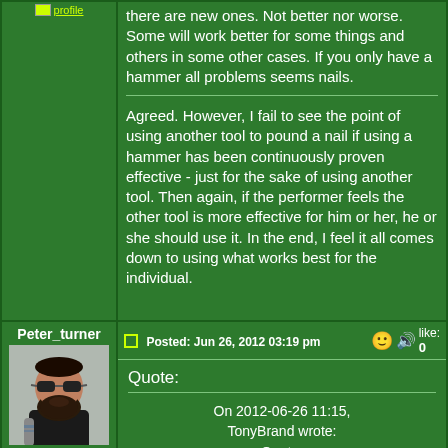there are new ones. Not better nor worse. Some will work better for some things and others in some other cases. If you only have a hammer all problems seems nails.
Agreed. However, I fail to see the point of using another tool to pound a nail if using a hammer has been continuously proven effective - just for the sake of using another tool. Then again, if the performer feels the other tool is more effective for him or her, he or she should use it. In the end, I feel it all comes down to using what works best for the individual.
Peter_turner
Posted: Jun 26, 2012 03:19 pm
like: 0
V.I.P. Bradford, West
Quote:
On 2012-06-26 11:15, TonyBrand wrote: Quote: